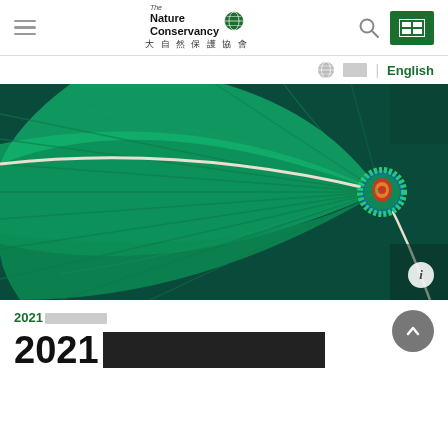The Nature Conservancy 大自然保護協會 navigation bar with hamburger menu, logo, search icon, and green button
English language selector with globe icon
[Figure (photo): Aerial view of a large circular green fishing net spread over teal ocean water, viewed from directly above. A rope extends diagonally from the center. The net radiates outward like a flower or starburst pattern in vivid emerald green.]
2021[REDACTED]
2021[REDACTED]